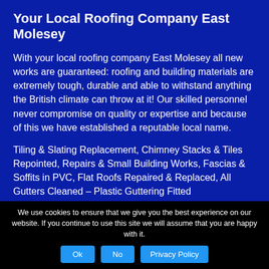Your Local Roofing Company East Molesey
With your local roofing company East Molesey all new works are guaranteed: roofing and building materials are extremely tough, durable and able to withstand anything the British climate can throw at it! Our skilled personnel never compromise on quality or expertise and because of this we have established a reputable local name.
Tiling & Slating Replacement, Chimney Stacks & Tiles Repointed, Repairs & Small Building Works, Fascias & Soffits in PVC, Flat Roofs Repaired & Replaced, All Gutters Cleaned – Plastic Guttering Fitted
We use cookies to ensure that we give you the best experience on our website. If you continue to use this site we will assume that you are happy with it.